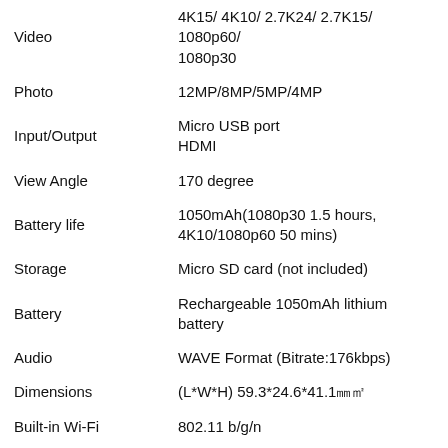| Feature | Details |
| --- | --- |
| Video | 4K15/ 4K10/ 2.7K24/ 2.7K15/ 1080p60/ 1080p30 |
| Photo | 12MP/8MP/5MP/4MP |
| Input/Output | Micro USB port
HDMI |
| View Angle | 170 degree |
| Battery life | 1050mAh(1080p30 1.5 hours, 4K10/1080p60 50 mins) |
| Storage | Micro SD card (not included) |
| Battery | Rechargeable 1050mAh lithium battery |
| Audio | WAVE Format (Bitrate:176kbps) |
| Dimensions | (L*W*H) 59.3*24.6*41.1㎜㎡ |
| Built-in Wi-Fi | 802.11 b/g/n |
| Multi- | Dutch, Hungarian, Polish
Korean, Japanese, Portuguese,
German, Simplified Chinese |